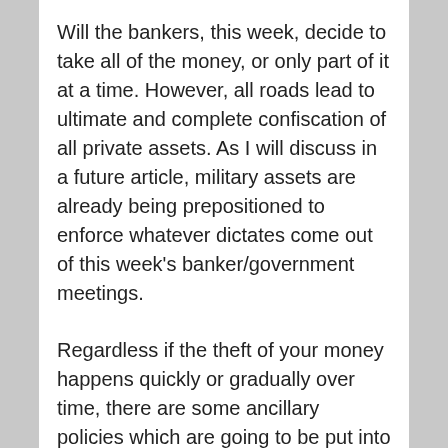Will the bankers, this week, decide to take all of the money, or only part of it at a time. However, all roads lead to ultimate and complete confiscation of all private assets. As I will discuss in a future article, military assets are already being prepositioned to enforce whatever dictates come out of this week's banker/government meetings.
Regardless if the theft of your money happens quickly or gradually over time, there are some ancillary policies which are going to be put into play which threatens the welfare of every American. In the next article, America will soon discover why I have been so seemingly obsessed with Executive Order